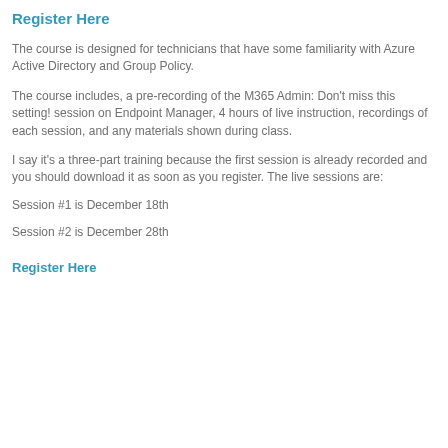Register Here
The course is designed for technicians that have some familiarity with Azure Active Directory and Group Policy.
The course includes, a pre-recording of the M365 Admin: Don't miss this setting! session on Endpoint Manager, 4 hours of live instruction, recordings of each session, and any materials shown during class.
I say it's a three-part training because the first session is already recorded and you should download it as soon as you register. The live sessions are:
Session #1 is December 18th
Session #2 is December 28th
Register Here